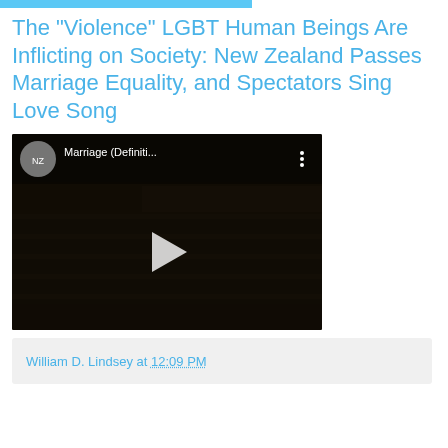The "Violence" LGBT Human Beings Are Inflicting on Society: New Zealand Passes Marriage Equality, and Spectators Sing Love Song
[Figure (screenshot): YouTube video thumbnail showing New Zealand Parliament chamber with people in the gallery and on the floor. Overlay shows NZ royal coat of arms logo and title 'Marriage (Definiti...' with a play button in the center.]
William D. Lindsey at 12:09 PM